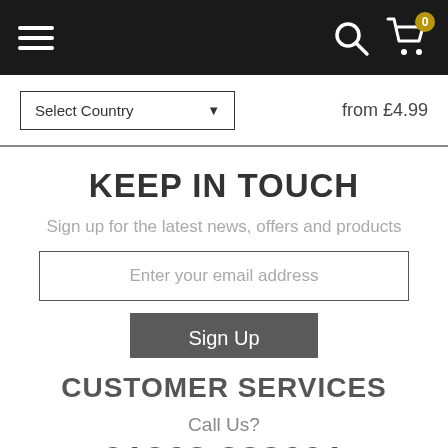Navigation bar with hamburger menu, search icon, and cart (0 items)
Select Country   from £4.99
KEEP IN TOUCH
Sign up for the latest news, offers and products
Enter your email address
Sign Up
CUSTOMER SERVICES
Call Us?
01268 288691